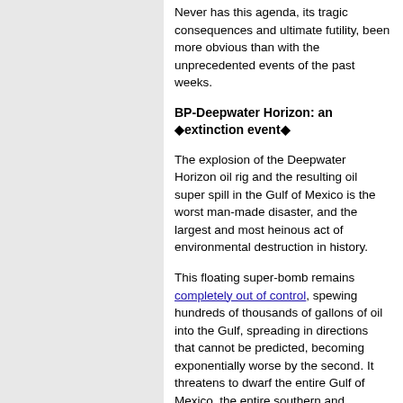Never has this agenda, its tragic consequences and ultimate futility, been more obvious than with the unprecedented events of the past weeks.
BP-Deepwater Horizon: an ◆extinction event◆
The explosion of the Deepwater Horizon oil rig and the resulting oil super spill in the Gulf of Mexico is the worst man-made disaster, and the largest and most heinous act of environmental destruction in history.
This floating super-bomb remains completely out of control, spewing hundreds of thousands of gallons of oil into the Gulf, spreading in directions that cannot be predicted, becoming exponentially worse by the second. It threatens to dwarf the entire Gulf of Mexico, the entire southern and southeastern coast of the United States and Mississippi River, and is poised to spread into all of the world◆s oceans. Wildlife, human life, industries, economies and livelihoods, all potentially face permanent damage and destruction. It is even possible that the Gulf will be rendered impossible to navigate.